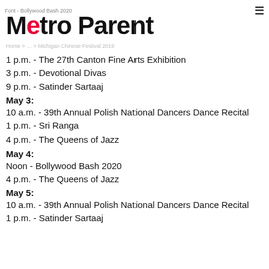Font - Bollywood Bash 2020 ≡
Metro Parent
Home > ... > Michigan Chinese Festival 2019
1 p.m. - The 27th Canton Fine Arts Exhibition
3 p.m. - Devotional Divas
9 p.m. - Satinder Sartaaj
May 3:
10 a.m. - 39th Annual Polish National Dancers Dance Recital
1 p.m. - Sri Ranga
4 p.m. - The Queens of Jazz
May 4:
Noon - Bollywood Bash 2020
4 p.m. - The Queens of Jazz
May 5:
10 a.m. - 39th Annual Polish National Dancers Dance Recital
1 p.m. - Satinder Sartaaj